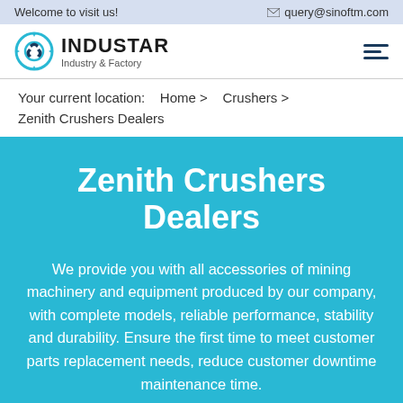Welcome to visit us!   query@sinoftm.com
[Figure (logo): INDUSTAR Industry & Factory logo with gear icon]
Your current location:   Home >   Crushers >   Zenith Crushers Dealers
Zenith Crushers Dealers
We provide you with all accessories of mining machinery and equipment produced by our company, with complete models, reliable performance, stability and durability. Ensure the first time to meet customer parts replacement needs, reduce customer downtime maintenance time.